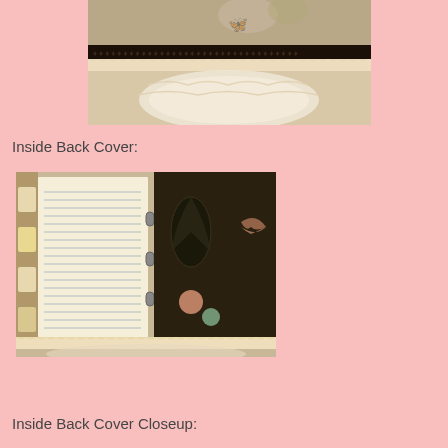[Figure (photo): Top portion of a decorative scrapbook showing floral embellishments, black lace trim, and cream/ivory lace doily underneath]
Inside Back Cover:
[Figure (photo): Inside back cover of a decorative scrapbook/album showing lined pages on left, and botanical/butterfly patterned decorative paper with flowers on the right, with lace trim at bottom]
Inside Back Cover Closeup: